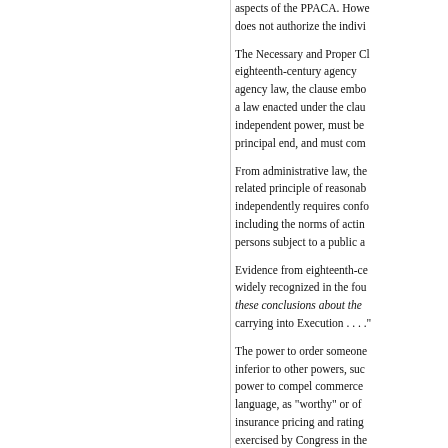aspects of the PPACA. However, … does not authorize the indivi…
The Necessary and Proper Cl… eighteenth-century agency … agency law, the clause embo… a law enacted under the clau… independent power, must be… principal end, and must com…
From administrative law, the… related principle of reasonab… independently requires confo… including the norms of actin… persons subject to a public a…
Evidence from eighteenth-ce… widely recognized in the fou… these conclusions about the … carrying into Execution . . . ."
The power to order someone… inferior to other powers, suc… power to compel commerce… language, as "worthy" or of … insurance pricing and rating… exercised by Congress in the… exist.